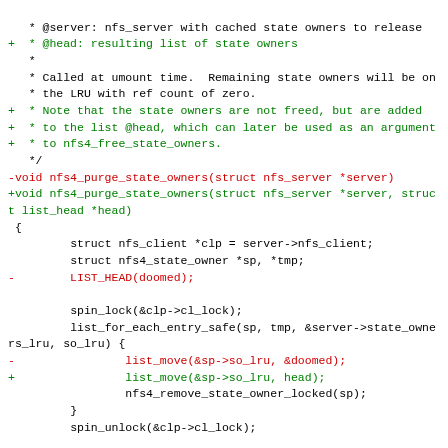Diff/patch code snippet showing changes to nfs4_purge_state_owners function signature and body in a kernel NFS source file.